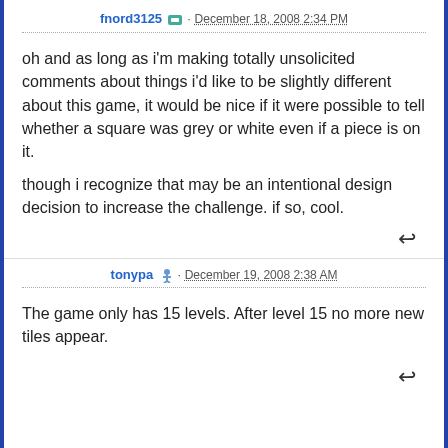fnord3125 · December 18, 2008 2:34 PM
oh and as long as i'm making totally unsolicited comments about things i'd like to be slightly different about this game, it would be nice if it were possible to tell whether a square was grey or white even if a piece is on it.
though i recognize that may be an intentional design decision to increase the challenge. if so, cool.
tonypa · December 19, 2008 2:38 AM
The game only has 15 levels. After level 15 no more new tiles appear.